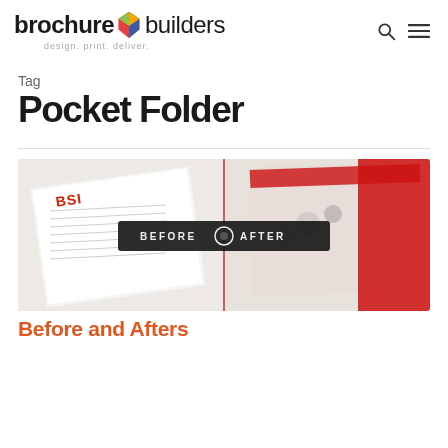brochure builders — design. print. deliver.
Tag
Pocket Folder
[Figure (photo): Before and after comparison photo of a BSI pocket folder brochure on a white wood surface, with a dark overlay badge reading BEFORE • AFTER in the center.]
Before and Afters